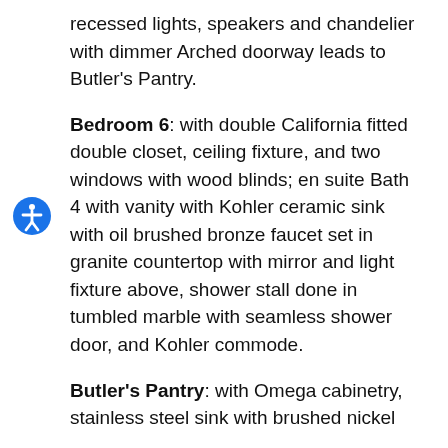recessed lights, speakers and chandelier with dimmer Arched doorway leads to Butler's Pantry.
Bedroom 6: with double California fitted double closet, ceiling fixture, and two windows with wood blinds; en suite Bath 4 with vanity with Kohler ceramic sink with oil brushed bronze faucet set in granite countertop with mirror and light fixture above, shower stall done in tumbled marble with seamless shower door, and Kohler commode.
Butler's Pantry: with Omega cabinetry, stainless steel sink with brushed nickel